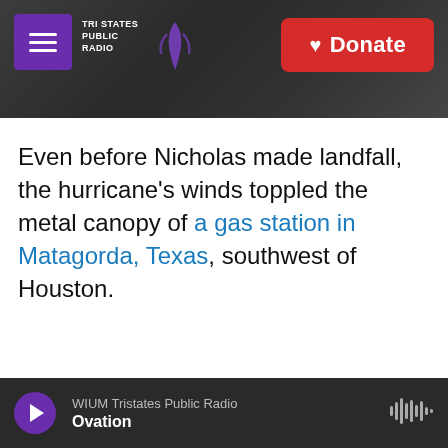[Figure (screenshot): Website header with dark grayscale background showing a radio tower silhouette. Contains purple hamburger menu icon, Tri States Public Radio logo text and graphic, and a red Donate button with heart icon.]
Even before Nicholas made landfall, the hurricane's winds toppled the metal canopy of a gas station in Matagorda, Texas, southwest of Houston.
WIUM Tristates Public Radio Ovation